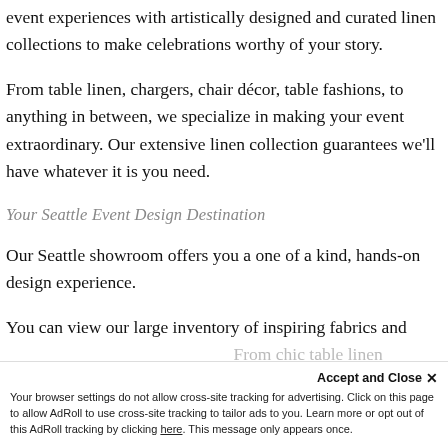event experiences with artistically designed and curated linen collections to make celebrations worthy of your story.
From table linen, chargers, chair décor, table fashions, to anything in between, we specialize in making your event extraordinary. Our extensive linen collection guarantees we'll have whatever it is you need.
Your Seattle Event Design Destination
Our Seattle showroom offers you a one of a kind, hands-on design experience.
You can view our large inventory of inspiring fabrics and
From chic table linen
Accept and Close ✕
Your browser settings do not allow cross-site tracking for advertising. Click on this page to allow AdRoll to use cross-site tracking to tailor ads to you. Learn more or opt out of this AdRoll tracking by clicking here. This message only appears once.